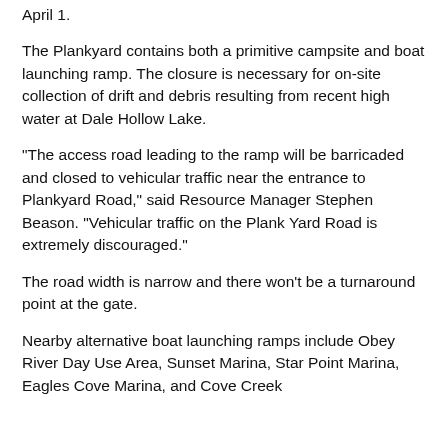April 1.
The Plankyard contains both a primitive campsite and boat launching ramp. The closure is necessary for on-site collection of drift and debris resulting from recent high water at Dale Hollow Lake.
“The access road leading to the ramp will be barricaded and closed to vehicular traffic near the entrance to Plankyard Road,” said Resource Manager Stephen Beason. “Vehicular traffic on the Plank Yard Road is extremely discouraged.”
The road width is narrow and there won’t be a turnaround point at the gate.
Nearby alternative boat launching ramps include Obey River Day Use Area, Sunset Marina, Star Point Marina, Eagles Cove Marina, and Cove Creek